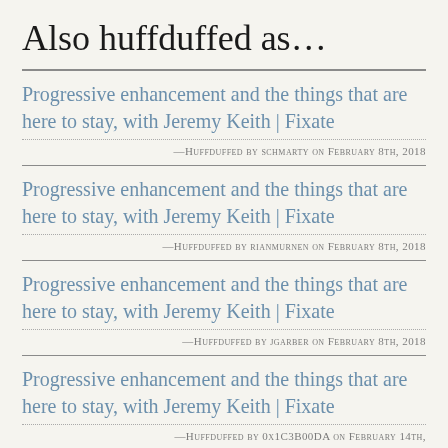Also huffduffed as…
Progressive enhancement and the things that are here to stay, with Jeremy Keith | Fixate — Huffduffed by schmarty on February 8th, 2018
Progressive enhancement and the things that are here to stay, with Jeremy Keith | Fixate — Huffduffed by rianmurnen on February 8th, 2018
Progressive enhancement and the things that are here to stay, with Jeremy Keith | Fixate — Huffduffed by jgarber on February 8th, 2018
Progressive enhancement and the things that are here to stay, with Jeremy Keith | Fixate — Huffduffed by 0x1C3B00DA on February 14th,